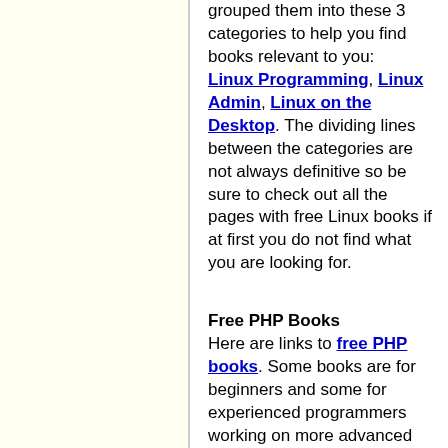grouped them into these 3 categories to help you find books relevant to you: Linux Programming, Linux Admin, Linux on the Desktop. The dividing lines between the categories are not always definitive so be sure to check out all the pages with free Linux books if at first you do not find what you are looking for.
Free PHP Books
Here are links to free PHP books. Some books are for beginners and some for experienced programmers working on more advanced topics.
Free Java & JavaScript